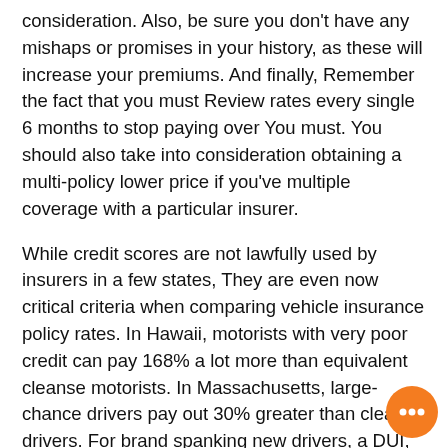consideration. Also, be sure you don't have any mishaps or promises in your history, as these will increase your premiums. And finally, Remember the fact that you must Review rates every single 6 months to stop paying over You must. You should also take into consideration obtaining a multi-policy lower price if you've multiple coverage with a particular insurer.
While credit scores are not lawfully used by insurers in a few states, They are even now critical criteria when comparing vehicle insurance policy rates. In Hawaii, motorists with very poor credit can pay 168% a lot more than equivalent cleanse motorists. In Massachusetts, large-chance drivers pay out 30% greater than cleanse drivers. For brand spanking new drivers, a DUI, rushing ticket, and undesirable credit rating will raise costs over Other individuals. Make sure you acquire several rates before you make a choice.
Auto Insurance policies In the vicinity